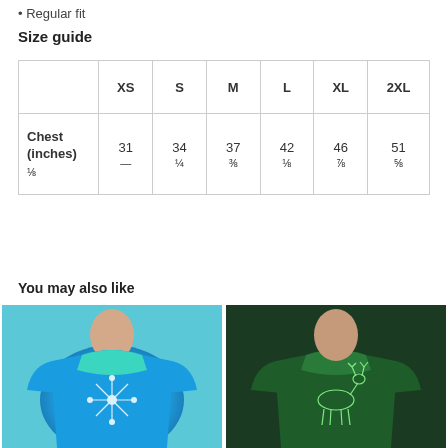Regular fit
Size guide
|  | XS | S | M | L | XL | 2XL |
| --- | --- | --- | --- | --- | --- | --- |
| Chest (inches) | 31 ⅛ | 34 ¼ | 37 ⅜ | 42 ⅛ | 46 ⅞ | 51 ⅝ |
You may also like
[Figure (photo): Man wearing blue-green tie-dye t-shirt with white snowflake/star design]
[Figure (photo): Man wearing dark green tie-dye t-shirt with deer skeleton design]